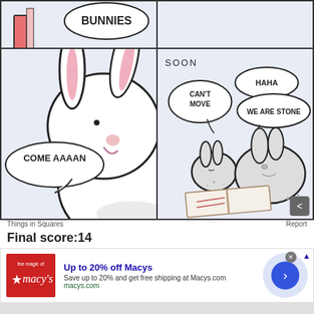[Figure (illustration): Top row of comic panels: left panel shows a book and speech bubble saying BUNNIES, right panel is partially visible]
[Figure (illustration): Bottom left comic panel: large cute white bunny with speech bubble saying COME AAAAN]
[Figure (illustration): Bottom right comic panel: two bunnies turned to stone, speech bubbles say SOON, CAN'T MOVE, HAHA WE ARE STONE, with an open book on the ground]
Things in Squares
Report
Final score:14
[Figure (illustration): Macy's advertisement: Up to 20% off Macys. Save up to 20% and get free shipping at Macys.com. macys.com]